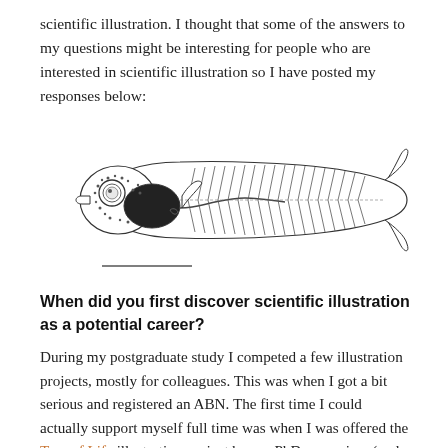scientific illustration. I thought that some of the answers to my questions might be interesting for people who are interested in scientific illustration so I have posted my responses below:
[Figure (illustration): Scientific illustration of a fish larva (zebrafish-like larva) shown in lateral view, with detailed ink-style line art showing eye, yolk sac, internal organs, fin rays, and a scale bar beneath.]
When did you first discover scientific illustration as a potential career?
During my postgraduate study I competed a few illustration projects, mostly for colleagues. This was when I got a bit serious and registered an ABN. The first time I could actually support myself full time was when I was offered the Tree of Life illustration project by my PhD supervisor (and world